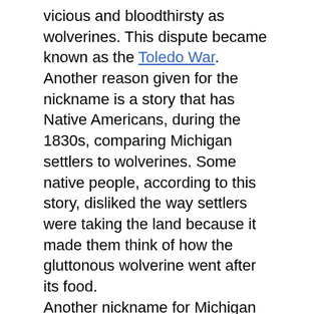vicious and bloodthirsty as wolverines. This dispute became known as the Toledo War. Another reason given for the nickname is a story that has Native Americans, during the 1830s, comparing Michigan settlers to wolverines. Some native people, according to this story, disliked the way settlers were taking the land because it made them think of how the gluttonous wolverine went after its food. Another nickname for Michigan is the "Great Lake State." Michigan's shores touch four of the five Great Lakes, and Michigan has more than 11,000 inland lakes. In Michigan, you are never more than 6 miles from an inland lake or more than 85 miles from a Great Lake. From